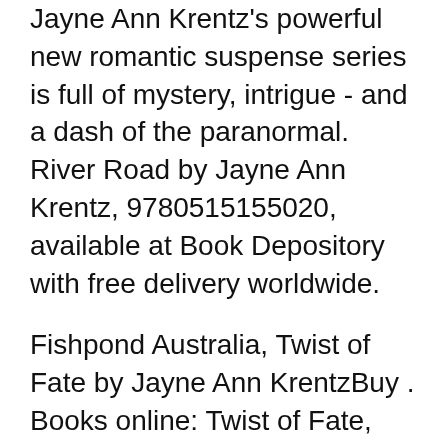Jayne Ann Krentz's powerful new romantic suspense series is full of mystery, intrigue - and a dash of the paranormal. River Road by Jayne Ann Krentz, 9780515155020, available at Book Depository with free delivery worldwide.
Fishpond Australia, Twist of Fate by Jayne Ann KrentzBuy . Books online: Twist of Fate, 1993, Fishpond.com.au Jayne Ann Krentz, who also writes historical and futuristic fiction under the pseudonyms Amanda Quick and Jayne Castle respectively, has more than fifty NEW YORK
Buy a cheap copy of Trust Me book by Jayne Ann Krentz. Sam Stark made his millions working on chaos theory, and despises "the chaos of romance". So when Desdemona Complete order